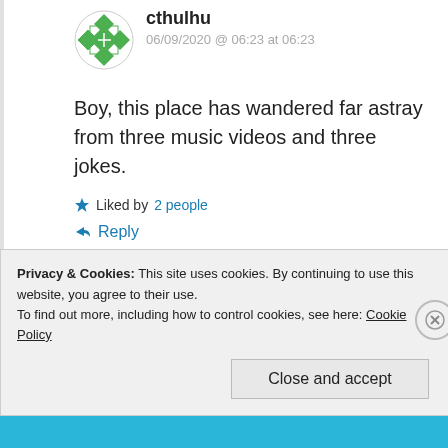[Figure (illustration): Green geometric quilt-pattern avatar icon for user cthulhu]
cthulhu
06/09/2020 @ 06:23 at 06:23
Boy, this place has wandered far astray from three music videos and three jokes.
Liked by 2 people
Reply
Privacy & Cookies: This site uses cookies. By continuing to use this website, you agree to their use.
To find out more, including how to control cookies, see here: Cookie Policy
Close and accept